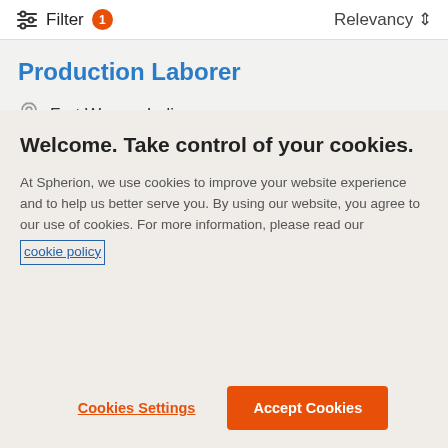Filter 1  Relevancy
Production Laborer
Fort Wayne, Indiana
Temp to Perm
Welcome. Take control of your cookies.
At Spherion, we use cookies to improve your website experience and to help us better serve you. By using our website, you agree to our use of cookies. For more information, please read our cookie policy
Cookies Settings
Accept Cookies